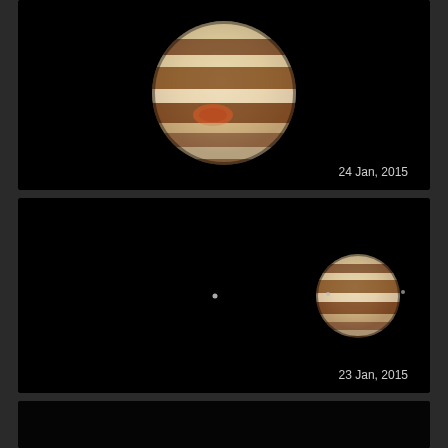[Figure (photo): Telescopic image of Jupiter showing banded cloud structure and Great Red Spot against a black background. Date label: 24 Jan, 2015.]
[Figure (photo): Wide-field telescopic image showing Jupiter (right side, smaller with bands visible) and three of its Galilean moons as small dots to the left against a black background. Date label: 23 Jan, 2015.]
[Figure (photo): Partial telescopic image of Jupiter partially visible at bottom of frame, black background, date cut off.]